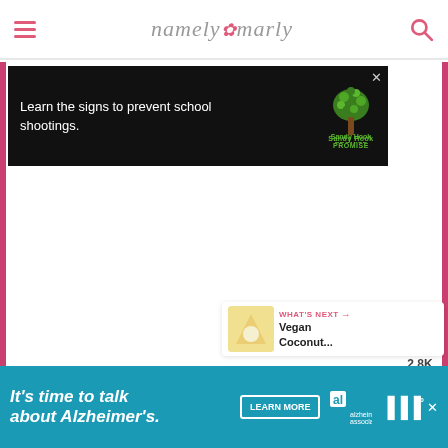namely marly - website header with hamburger menu, logo, and search icon
[Figure (screenshot): Advertisement banner: black background with text 'Learn the signs to prevent school shootings.' and Sandy Hook Promise tree logo with close button]
[Figure (screenshot): Main content area - white blank area below advertisement]
[Figure (infographic): Right sidebar social buttons: pink heart button, 2.8K like count, and share button]
2.8K
[Figure (screenshot): What's Next recommendation panel showing thumbnail image and text 'Vegan Coconut...']
WHAT'S NEXT → Vegan Coconut...
[Figure (screenshot): Bottom advertisement banner: teal background with text "It's time to talk about Alzheimer's." with Learn More button and Alzheimer's Association logo]